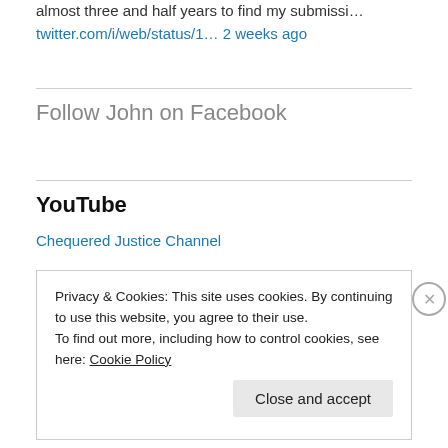almost three and half years to find my submissi…
twitter.com/i/web/status/1… 2 weeks ago
Follow John on Facebook
YouTube
Chequered Justice Channel
Privacy & Cookies: This site uses cookies. By continuing to use this website, you agree to their use.
To find out more, including how to control cookies, see here: Cookie Policy